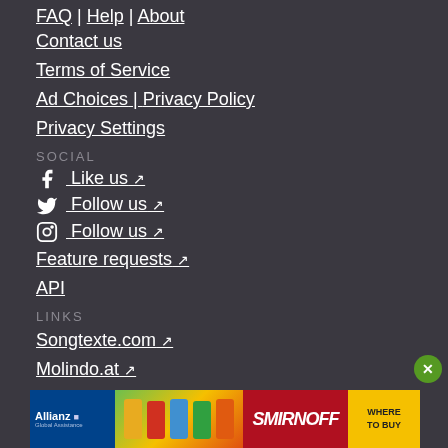FAQ | Help | About
Contact us
Terms of Service
Ad Choices | Privacy Policy
Privacy Settings
SOCIAL
Like us ↗
Follow us ↗
Follow us ↗
Feature requests ↗
API
LINKS
Songtexte.com ↗
Molindo.at ↗
FRIENDS & PARTNERS
[Figure (photo): Advertisement banner featuring Allianz Global Assistance, colorful cans, Smirnoff logo, and WHERE TO BUY button]